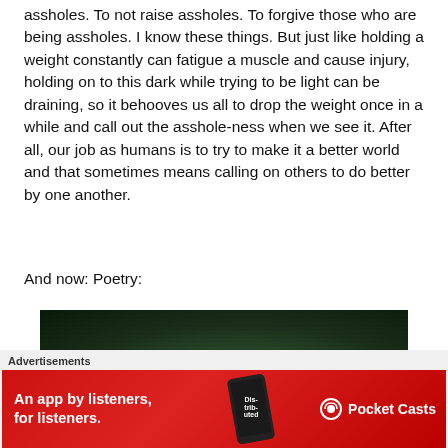assholes. To not raise assholes. To forgive those who are being assholes. I know these things. But just like holding a weight constantly can fatigue a muscle and cause injury, holding on to this dark while trying to be light can be draining, so it behooves us all to drop the weight once in a while and call out the asshole-ness when we see it. After all, our job as humans is to try to make it a better world and that sometimes means calling on others to do better by one another.
And now: Poetry:
[Figure (photo): Dark overhead photo of dense green foliage/tree canopy at night with a single bright green leaf visible in center]
Advertisements
[Figure (other): Red advertisement banner for Pocket Casts app reading 'An app by listeners, for listeners.' with a phone showing 'Distributed' text and Pocket Casts logo]